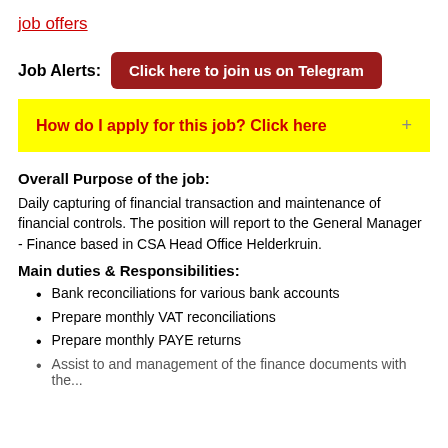job offers
Job Alerts: Click here to join us on Telegram
How do I apply for this job? Click here +
Overall Purpose of the job:
Daily capturing of financial transaction and maintenance of financial controls. The position will report to the General Manager - Finance based in CSA Head Office Helderkruin.
Main duties & Responsibilities:
Bank reconciliations for various bank accounts
Prepare monthly VAT reconciliations
Prepare monthly PAYE returns
Assist to and management of the finance documents with the...